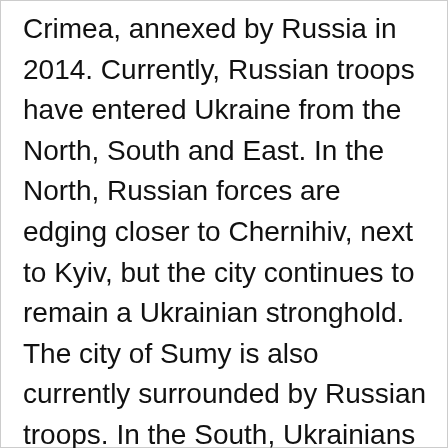Crimea, annexed by Russia in 2014. Currently, Russian troops have entered Ukraine from the North, South and East. In the North, Russian forces are edging closer to Chernihiv, next to Kyiv, but the city continues to remain a Ukrainian stronghold. The city of Sumy is also currently surrounded by Russian troops. In the South, Ukrainians have lost the Zaporizhzhia nuclear plant, and Russia has also gained control of the major city of Kherson. Mariupol remains under attack as the evacuation continues. In the East, the second-largest city in Ukraine, Kharkov, continues to face bombardment, as does Donetsk. President Zelensky has also claimed that Russia is planning to bomb the port city of Odesa. As one of the most volatile ports on the coast of